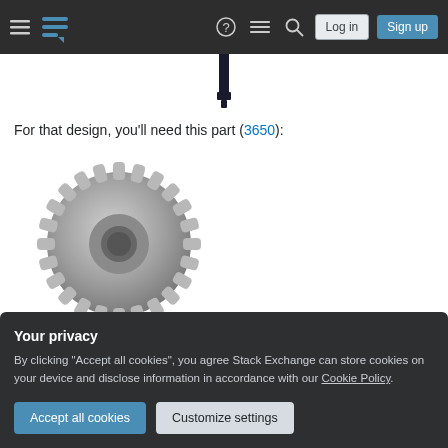Stack Exchange navigation bar with hamburger menu, logo, help, chat, search icons, Log in and Sign up buttons
[Figure (photo): A dark-colored pin or key component shown from below, entering from the top of the content area]
For that design, you'll need this part (3650):
[Figure (photo): A gray LEGO-style technic gear with 24 teeth, shown in 3D perspective]
Your privacy
By clicking "Accept all cookies", you agree Stack Exchange can store cookies on your device and disclose information in accordance with our Cookie Policy.
Accept all cookies
Customize settings